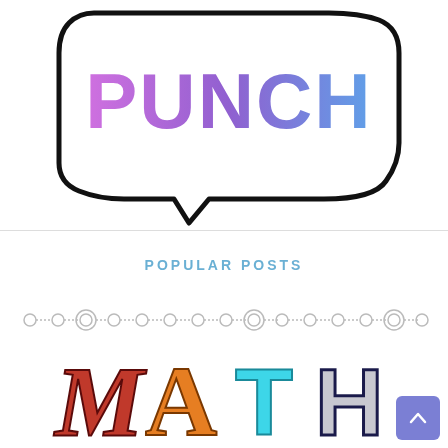[Figure (illustration): Speech bubble logo with colorful 'PUNCH' text in gradient purple to blue, drawn in a hand-sketched style on white background]
POPULAR POSTS
[Figure (illustration): Colorful decorative 'MATH' text image with a row of small circles/dots pattern above it, and a scroll-to-top button in purple on bottom right]